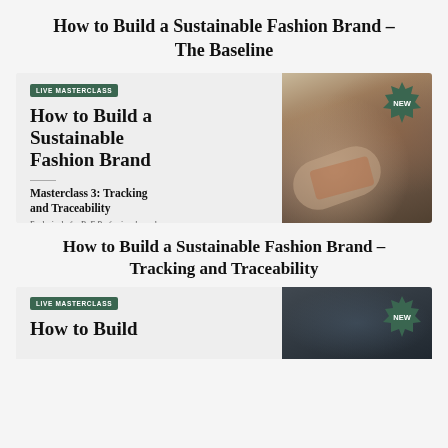How to Build a Sustainable Fashion Brand – The Baseline
[Figure (photo): Live Masterclass promotional card for 'How to Build a Sustainable Fashion Brand – Masterclass 3: Tracking and Traceability'. Left side shows text on light grey background with green LIVE MASTERCLASS badge and NEW starburst badge. Right side shows a photo of hands holding a phone near woven baskets.]
How to Build a Sustainable Fashion Brand – Tracking and Traceability
[Figure (photo): Partial view of another Live Masterclass promotional card for 'How to Build a Sustainable Fashion Brand'. Shows LIVE MASTERCLASS badge on left and NEW starburst on right with a dark background photo.]